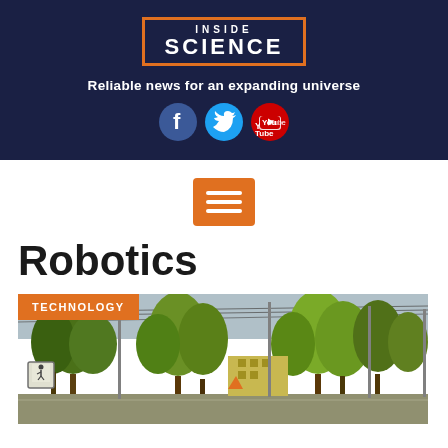[Figure (logo): Inside Science logo with orange border box on dark navy background]
Reliable news for an expanding universe
[Figure (infographic): Social media icons: Facebook, Twitter, YouTube on dark navy background]
[Figure (infographic): Orange hamburger/menu button with three white horizontal lines]
Robotics
[Figure (photo): Street scene with trees, utility poles, crosswalk sign, and buildings. Orange TECHNOLOGY badge overlay in top-left corner.]